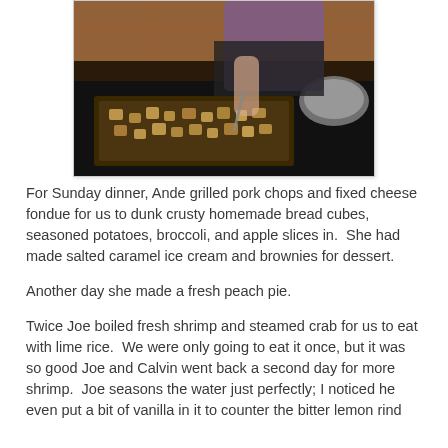[Figure (photo): A person preparing food on a baking tray filled with bread cubes or croutons, in a kitchen setting with tile floors visible in the background.]
For Sunday dinner, Ande grilled pork chops and fixed cheese fondue for us to dunk crusty homemade bread cubes, seasoned potatoes, broccoli, and apple slices in.  She had made salted caramel ice cream and brownies for dessert.
Another day she made a fresh peach pie.
Twice Joe boiled fresh shrimp and steamed crab for us to eat with lime rice.  We were only going to eat it once, but it was so good Joe and Calvin went back a second day for more shrimp.  Joe seasons the water just perfectly; I noticed he even put a bit of vanilla in it to counter the bitter lemon rind